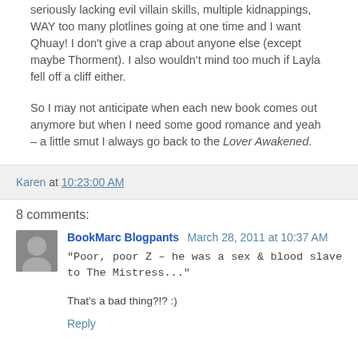seriously lacking evil villain skills, multiple kidnappings, WAY too many plotlines going at one time and I want Qhuay! I don't give a crap about anyone else (except maybe Thorment). I also wouldn't mind too much if Layla fell off a cliff either.

So I may not anticipate when each new book comes out anymore but when I need some good romance and yeah – a little smut I always go back to the Lover Awakened.
Karen at 10:23:00 AM
8 comments:
BookMarc Blogpants March 28, 2011 at 10:37 AM
"Poor, poor Z – he was a sex & blood slave to The Mistress..."

That's a bad thing?!? :)
Reply